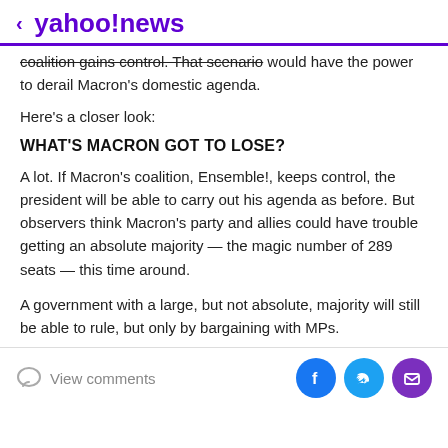< yahoo!news
coalition gains control. That scenario would have the power to derail Macron's domestic agenda.
Here's a closer look:
WHAT'S MACRON GOT TO LOSE?
A lot. If Macron's coalition, Ensemble!, keeps control, the president will be able to carry out his agenda as before. But observers think Macron's party and allies could have trouble getting an absolute majority — the magic number of 289 seats — this time around.
A government with a large, but not absolute, majority will still be able to rule, but only by bargaining with MPs.
View comments